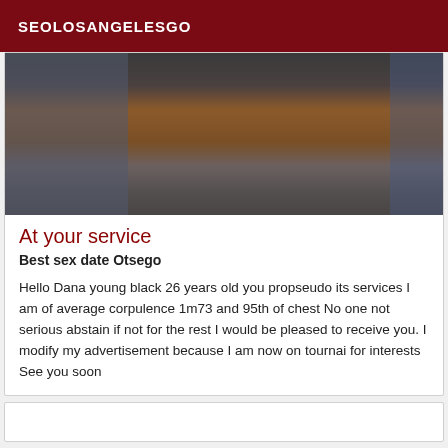SEOLOSANGELESGO
[Figure (photo): A blurry photo showing parts of a person, taken from a low angle with dark and brownish tones.]
At your service
Best sex date Otsego
Hello Dana young black 26 years old you propseudo its services I am of average corpulence 1m73 and 95th of chest No one not serious abstain if not for the rest I would be pleased to receive you. I modify my advertisement because I am now on tournai for interests See you soon